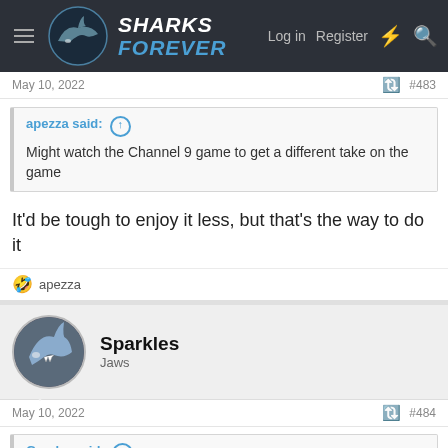Sharks Forever — Log in  Register
May 10, 2022  #483
apezza said: ↑
Might watch the Channel 9 game to get a different take on the game
It'd be tough to enjoy it less, but that's the way to do it
apezza
Sparkles
Jaws
May 10, 2022  #484
Gumby said: ↑
IMO they're not there just yet. Ennis, barba and Maloney won us a comp. Don't me wrong our recruits this year have been brilliant but that's just my opinion.